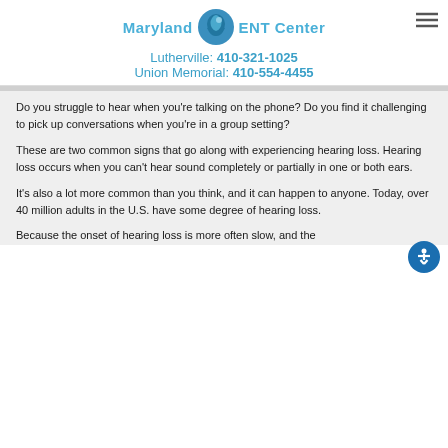Maryland ENT Center
Lutherville: 410-321-1025
Union Memorial: 410-554-4455
Do you struggle to hear when you're talking on the phone? Do you find it challenging to pick up conversations when you're in a group setting?
These are two common signs that go along with experiencing hearing loss. Hearing loss occurs when you can't hear sound completely or partially in one or both ears.
It's also a lot more common than you think, and it can happen to anyone. Today, over 40 million adults in the U.S. have some degree of hearing loss.
Because the onset of hearing loss is more often slow, and the